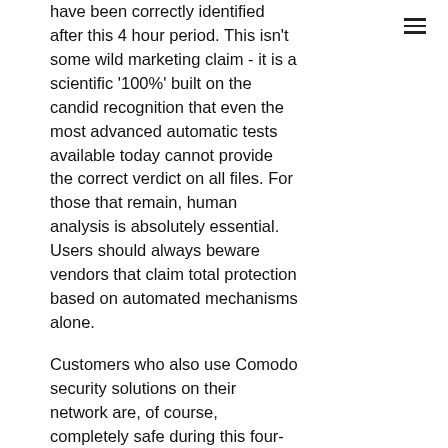have been correctly identified after this 4 hour period. This isn't some wild marketing claim - it is a scientific '100%' built on the candid recognition that even the most advanced automatic tests available today cannot provide the correct verdict on all files. For those that remain, human analysis is absolutely essential. Users should always beware vendors that claim total protection based on automated mechanisms alone.
Customers who also use Comodo security solutions on their network are, of course, completely safe during this four-hour period. The 8% of unknown files will be isolated in